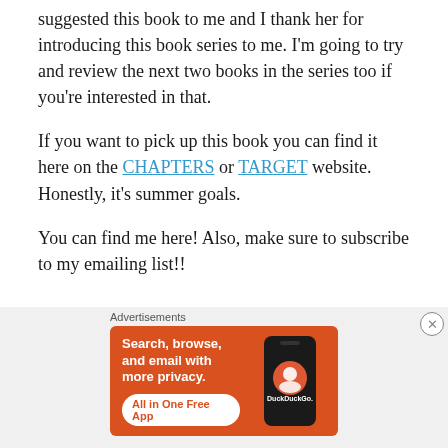suggested this book to me and I thank her for introducing this book series to me. I'm going to try and review the next two books in the series too if you're interested in that.
If you want to pick up this book you can find it here on the CHAPTERS or TARGET website. Honestly, it's summer goals.
You can find me here! Also, make sure to subscribe to my emailing list!!
[Figure (screenshot): DuckDuckGo advertisement banner with orange background. Text: 'Search, browse, and email with more privacy. All in One Free App' with a phone mockup showing the DuckDuckGo logo.]